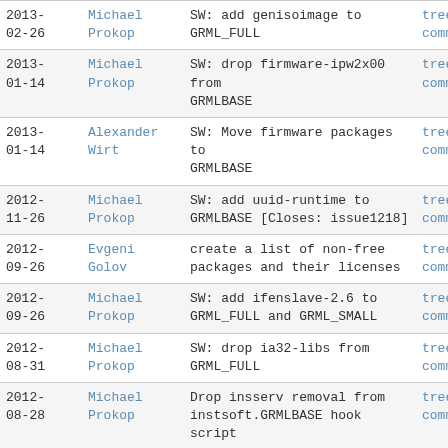| Date | Author | Message | Links |
| --- | --- | --- | --- |
| 2013-
02-26 | Michael
Prokop | SW: add genisoimage to
GRML_FULL | tree |
commitdiff |
| 2013-
01-14 | Michael
Prokop | SW: drop firmware-ipw2x00 from
GRMLBASE | tree |
commitdiff |
| 2013-
01-14 | Alexander
Wirt | SW: Move firmware packages to
GRMLBASE | tree |
commitdiff |
| 2012-
11-26 | Michael
Prokop | SW: add uuid-runtime to
GRMLBASE [Closes: issue1218] | tree |
commitdiff |
| 2012-
09-26 | Evgeni
Golov | create a list of non-free
packages and their licenses | tree |
commitdiff |
| 2012-
09-26 | Michael
Prokop | SW: add ifenslave-2.6 to
GRML_FULL and GRML_SMALL | tree |
commitdiff |
| 2012-
08-31 | Michael
Prokop | SW: drop ia32-libs from
GRML_FULL | tree |
commitdiff |
| 2012-
08-28 | Michael
Prokop | Drop insserv removal from
instsoft.GRMLBASE hook script | tree |
commitdiff |
| 2012-
08-27 | Michael
Prokop | dpkg-divert grub-probe binary
to avoid problems in... | tree |
commitdiff |
| 2012- | Michael | SW: add ssmping to GRML_FULL | tree | |